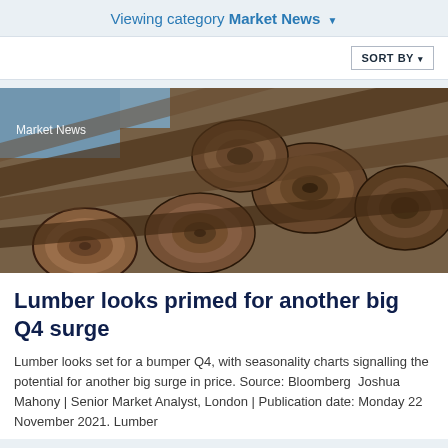Viewing category Market News ▾
SORT BY ▾
[Figure (photo): Stack of cut logs/lumber viewed from the end, showing circular cross-sections of timber piled together. Label 'Market News' overlaid on upper-left.]
Lumber looks primed for another big Q4 surge
Lumber looks set for a bumper Q4, with seasonality charts signalling the potential for another big surge in price. Source: Bloomberg  Joshua Mahony | Senior Market Analyst, London | Publication date: Monday 22 November 2021. Lumber